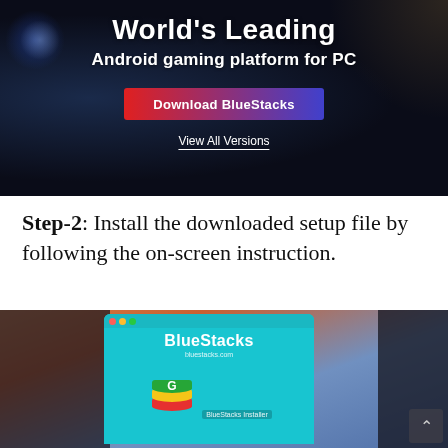[Figure (screenshot): BlueStacks website banner showing 'World's Leading Android gaming platform for PC' with a Download BlueStacks button and View All Versions link on a dark cosmic background.]
Step-2: Install the downloaded setup file by following the on-screen instruction.
[Figure (screenshot): BlueStacks installer window open on a macOS desktop with sunset/dunes wallpaper. The installer shows the BlueStacks logo (stacked colored layers) and branding on a teal background, with a scroll-to-top arrow button in the bottom-right corner.]